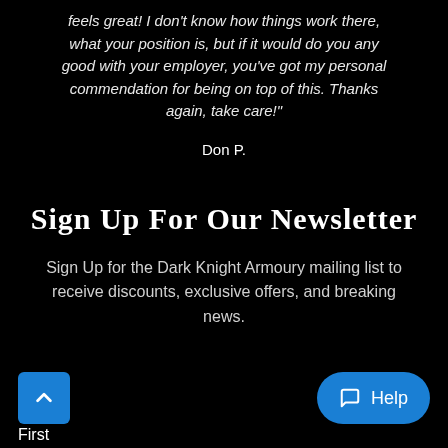feels great!  I don't know how things work there, what your position is, but if it would do you any good with your employer, you've got my personal commendation for being on top of this.  Thanks again, take care!"
Don P.
Sign Up For Our Newsletter
Sign Up for the Dark Knight Armoury mailing list to receive discounts, exclusive offers, and breaking news.
First